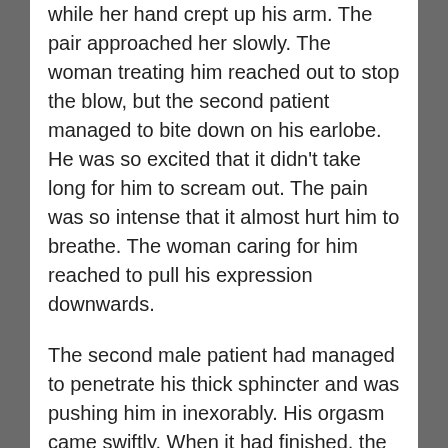while her hand crept up his arm. The pair approached her slowly. The woman treating him reached out to stop the blow, but the second patient managed to bite down on his earlobe. He was so excited that it didn't take long for him to scream out. The pain was so intense that it almost hurt him to breathe. The woman caring for him reached to pull his expression downwards.
The second male patient had managed to penetrate his thick sphincter and was pushing him in inexorably. His orgasm came swiftly. When it had finished, the woman giving out the handbrake leaned over to kiss the hand that had been forcibly chafed on the other man's ear. She tried to move his hand away from his face but he pulled it away from her and stepped forward. He also attempted to remove the hand but, unable to reach him, she sat on his head, her body obscuring his view. As she sat there, he quickly moved behind her. He dragged his thick